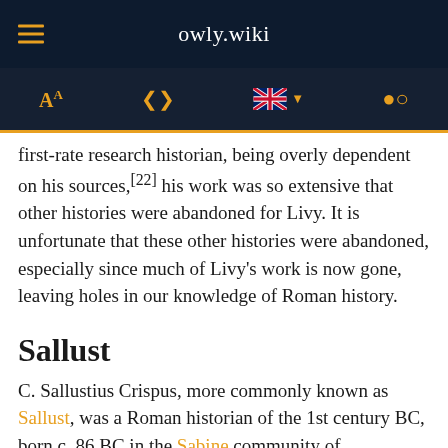owly.wiki
first-rate research historian, being overly dependent on his sources,[22] his work was so extensive that other histories were abandoned for Livy. It is unfortunate that these other histories were abandoned, especially since much of Livy's work is now gone, leaving holes in our knowledge of Roman history.
Sallust
C. Sallustius Crispus, more commonly known as Sallust, was a Roman historian of the 1st century BC, born c. 86 BC in the Sabine community of Amiternum. There is some